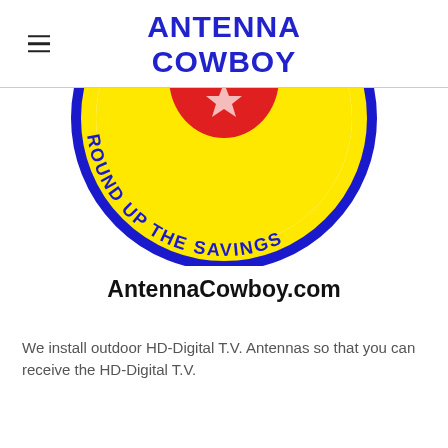ANTENNA COWBOY
[Figure (logo): Antenna Cowboy circular logo showing a cowboy figure in the center on a yellow background with blue border and text 'ROUND UP THE SAVINGS' around the bottom arc]
AntennaCowboy.com
We install outdoor HD-Digital T.V. Antennas so that you can receive the HD-Digital T.V.